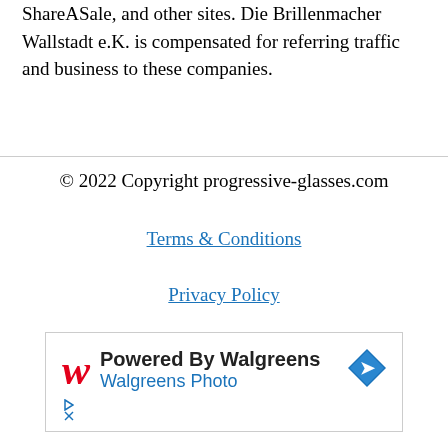ShareASale, and other sites. Die Brillenmacher Wallstadt e.K. is compensated for referring traffic and business to these companies.
© 2022 Copyright progressive-glasses.com
Terms & Conditions
Privacy Policy
[Figure (other): Walgreens Photo advertisement banner showing the Walgreens logo with text 'Powered By Walgreens' and 'Walgreens Photo']